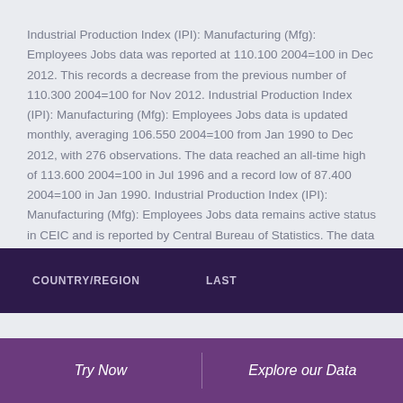Industrial Production Index (IPI): Manufacturing (Mfg): Employees Jobs data was reported at 110.100 2004=100 in Dec 2012. This records a decrease from the previous number of 110.300 2004=100 for Nov 2012. Industrial Production Index (IPI): Manufacturing (Mfg): Employees Jobs data is updated monthly, averaging 106.550 2004=100 from Jan 1990 to Dec 2012, with 276 observations. The data reached an all-time high of 113.600 2004=100 in Jul 1996 and a record low of 87.400 2004=100 in Jan 1990. Industrial Production Index (IPI): Manufacturing (Mfg): Employees Jobs data remains active status in CEIC and is reported by Central Bureau of Statistics. The data is categorized under Global Database's Israel – Table IL.B008: Industrial Production Index: Manufacturing: 2004=100: by Employment.
| COUNTRY/REGION | LAST |
| --- | --- |